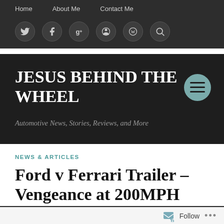Home   About Me   Contact Me
[Figure (other): Social media icon buttons: Twitter, Facebook, Google+, GitHub, WordPress, Search — dark circular buttons on dark background]
JESUS BEHIND THE WHEEL
Automotive News, Stories, Reviews, and More
NEWS & ARTICLES
Ford v Ferrari Trailer – Vengeance at 200MPH
[Figure (photo): Dark partial image strip of a scene from the Ford v Ferrari movie trailer]
Follow   ...